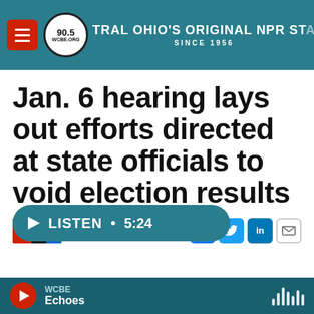90.5 WCBE · CENTRAL OHIO'S ORIGINAL NPR STATION · SINCE 1956 · Donate
Jan. 6 hearing lays out efforts directed at state officials to void election results
Published June 22, 2022 at 5:04 AM EDT
[Figure (logo): NPR logo with n p r letters in red and blue squares]
[Figure (infographic): LISTEN • 5:24 audio player button in teal rounded bar]
WCBE · Echoes · audio player controls